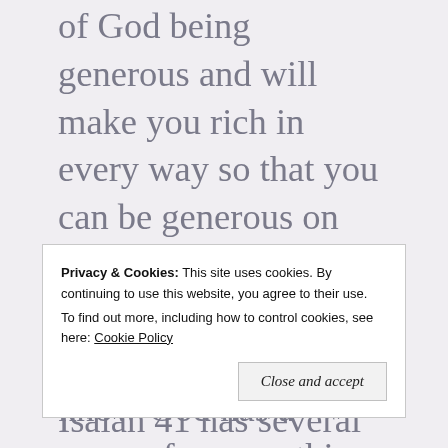of God being generous and will make you rich in every way so that you can be generous on every occasion... verse 11. Maybe your blessings, since we know God has a reason for everything that he does, maybe your blessings were meant to be shared with others. Maybe the joy you initially felt was meant to be illuminated so that others may see His
Privacy & Cookies: This site uses cookies. By continuing to use this website, you agree to their use.
To find out more, including how to control cookies, see here: Cookie Policy
Close and accept
you anxiety and fear. Isaiah 41 has several